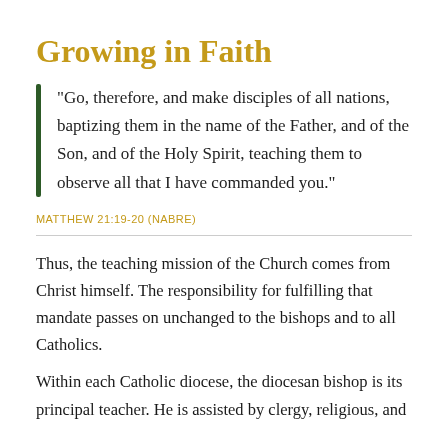Growing in Faith
"Go, therefore, and make disciples of all nations, baptizing them in the name of the Father, and of the Son, and of the Holy Spirit, teaching them to observe all that I have commanded you."
MATTHEW 21:19-20 (NABRE)
Thus, the teaching mission of the Church comes from Christ himself. The responsibility for fulfilling that mandate passes on unchanged to the bishops and to all Catholics.
Within each Catholic diocese, the diocesan bishop is its principal teacher.  He is assisted by clergy, religious, and